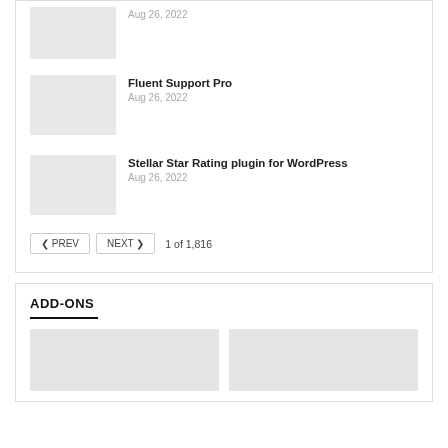[Figure (other): Thumbnail placeholder image (gray rectangle) for first list item]
Aug 26, 2022
[Figure (other): Thumbnail placeholder image (gray rectangle) for Fluent Support Pro]
Fluent Support Pro
Aug 26, 2022
[Figure (other): Thumbnail placeholder image (gray rectangle) for Stellar Star Rating plugin for WordPress]
Stellar Star Rating plugin for WordPress
Aug 26, 2022
PREV   NEXT   1 of 1,816
ADD-ONS
[Figure (other): Two thumbnail placeholder images (gray rectangles) for add-ons section]